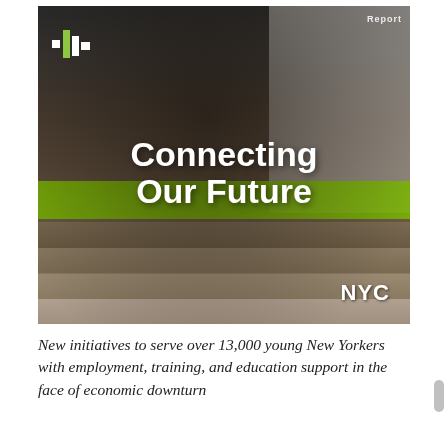[Figure (photo): Cover photo of a young Black woman sitting on steps outside a building with a bright green painted step, smiling at the camera. She wears all black. Overlaid text reads 'Connecting Our Future'. A logo mark (cross/plus shape in white and green) appears top left. 'NYC' logo appears bottom right. Top right corner shows partial text 'Report'.]
New initiatives to serve over 13,000 young New Yorkers with employment, training, and education support in the face of economic downturn